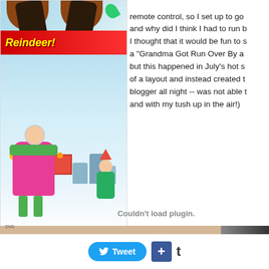[Figure (illustration): DVD cover for 'Grandma Got Run Over By a Reindeer' animated movie showing cartoon grandma in pink coat and green pants with reindeer hooves above her, an elf in background, snowy setting, red title banner, DVD logo at bottom left. Green swirl decoration at top right.]
remote control, so I set up to go and why did I think I had to run b I thought that it would be fun to s a "Grandma Got Run Over By a but this happened in July's hot s of a layout and instead created t blogger all night -- was not able t and with my tush up in the air!)
Couldn't load plugin.
[Figure (other): Tan/brown horizontal bar strip with dark image on right side]
Tweet
+
t